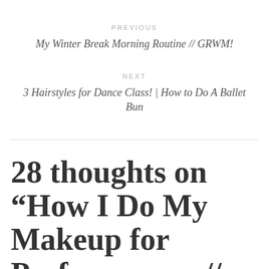PREVIOUS
My Winter Break Morning Routine // GRWM!
NEXT
3 Hairstyles for Dance Class! | How to Do A Ballet Bun
28 thoughts on “How I Do My Makeup for Performances // Stage